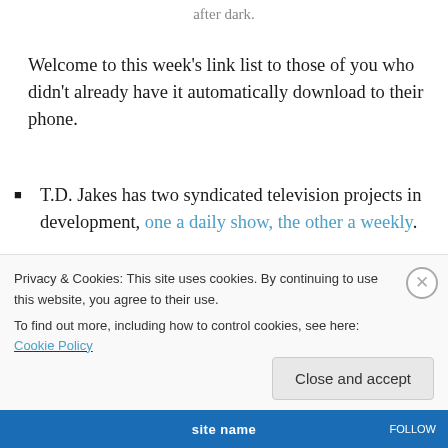after dark.
Welcome to this week's link list to those of you who didn't already have it automatically download to their phone.
T.D. Jakes has two syndicated television projects in development, one a daily show, the other a weekly.
At age 14, she was taken from her family and given to an ISIS commander as a bride. Then she and a friend
Privacy & Cookies: This site uses cookies. By continuing to use this website, you agree to their use.
To find out more, including how to control cookies, see here: Cookie Policy
Close and accept